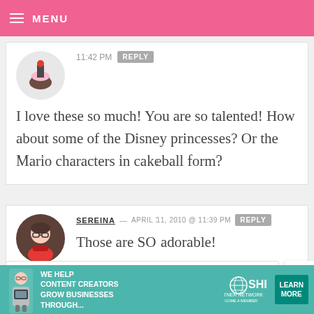MENU
11:42 PM  REPLY
I love these so much! You are so talented! How about some of the Disney princesses? Or the Mario characters in cakeball form?
SEREINA — APRIL 11, 2010 @ 11:39 PM  REPLY
Those are SO adorable!
[Figure (infographic): SHE Partner Network advertisement banner: We help content creators grow businesses through... Learn More]